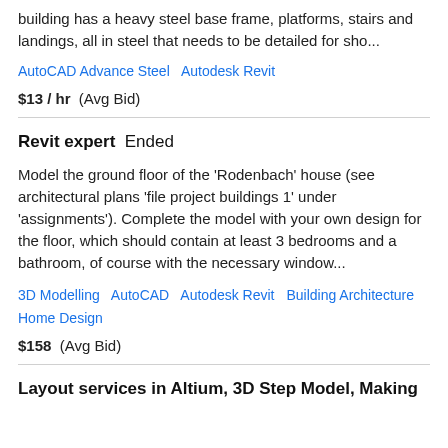building has a heavy steel base frame, platforms, stairs and landings, all in steel that needs to be detailed for sho...
AutoCAD Advance Steel   Autodesk Revit
$13 / hr  (Avg Bid)
Revit expert  Ended
Model the ground floor of the 'Rodenbach' house (see architectural plans 'file project buildings 1' under 'assignments'). Complete the model with your own design for the floor, which should contain at least 3 bedrooms and a bathroom, of course with the necessary window...
3D Modelling   AutoCAD   Autodesk Revit   Building Architecture   Home Design
$158  (Avg Bid)
Layout services in Altium, 3D Step Model, Making